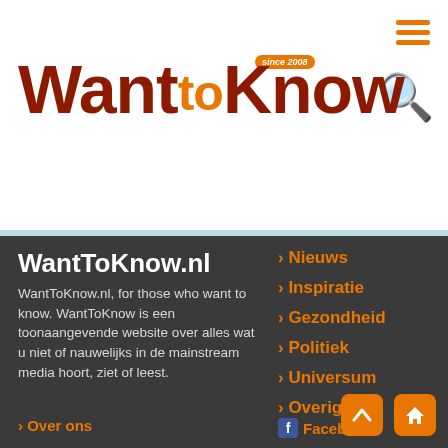[Figure (logo): WantToKnow.nl logo with 'since 2008' badge, dark red bold text for Want and Know, orange for 'to', followed by .nl .be TLD indicators]
WantToKnow.nl
WantToKnow.nl, for those who want to know. WantToKnow is een toonaangevende website over alles wat u niet of nauwelijks in de mainstream media hoort, ziet of leest.
Nieuws
Inspiratie
Gezondheid
Politiek
Universum
Overige
Over ons
Facebook